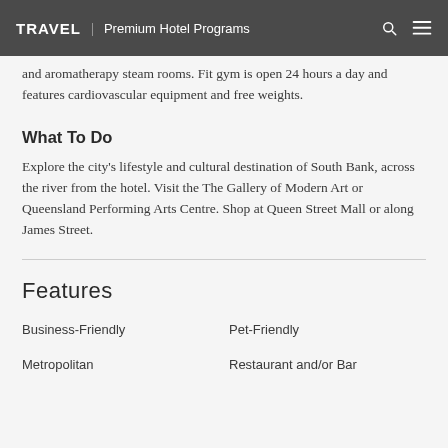TRAVEL | Premium Hotel Programs
and aromatherapy steam rooms. Fit gym is open 24 hours a day and features cardiovascular equipment and free weights.
What To Do
Explore the city's lifestyle and cultural destination of South Bank, across the river from the hotel. Visit the The Gallery of Modern Art or Queensland Performing Arts Centre. Shop at Queen Street Mall or along James Street.
Features
Business-Friendly
Pet-Friendly
Metropolitan
Restaurant and/or Bar